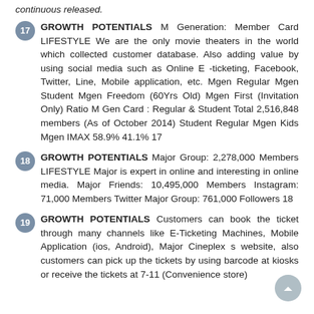continuous released.
17 GROWTH POTENTIALS M Generation: Member Card LIFESTYLE We are the only movie theaters in the world which collected customer database. Also adding value by using social media such as Online E -ticketing, Facebook, Twitter, Line, Mobile application, etc. Mgen Regular Mgen Student Mgen Freedom (60Yrs Old) Mgen First (Invitation Only) Ratio M Gen Card : Regular & Student Total 2,516,848 members (As of October 2014) Student Regular Mgen Kids Mgen IMAX 58.9% 41.1% 17
18 GROWTH POTENTIALS Major Group: 2,278,000 Members LIFESTYLE Major is expert in online and interesting in online media. Major Friends: 10,495,000 Members Instagram: 71,000 Members Twitter Major Group: 761,000 Followers 18
19 GROWTH POTENTIALS Customers can book the ticket through many channels like E-Ticketing Machines, Mobile Application (ios, Android), Major Cineplex s website, also customers can pick up the tickets by using barcode at kiosks or receive the tickets at 7-11 (Convenience store)